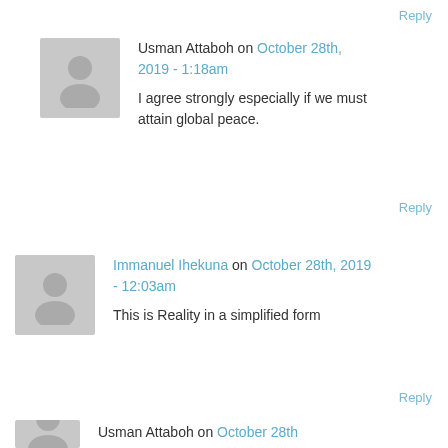Reply
Usman Attaboh on October 28th, 2019 - 1:18am
I agree strongly especially if we must attain global peace.
Reply
Immanuel Ihekuna on October 28th, 2019 - 12:03am
This is Reality in a simplified form
Reply
Usman Attaboh on October 28th